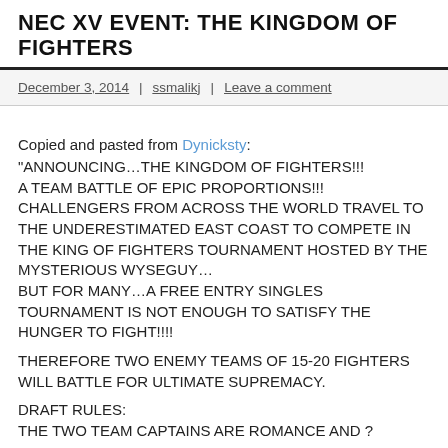NEC XV EVENT: THE KINGDOM OF FIGHTERS
December 3, 2014 | ssmalikj | Leave a comment
Copied and pasted from Dynicksty:
"ANNOUNCING…THE KINGDOM OF FIGHTERS!!!
A TEAM BATTLE OF EPIC PROPORTIONS!!!
CHALLENGERS FROM ACROSS THE WORLD TRAVEL TO THE UNDERESTIMATED EAST COAST TO COMPETE IN THE KING OF FIGHTERS TOURNAMENT HOSTED BY THE MYSTERIOUS WYSEGUY…
BUT FOR MANY…A FREE ENTRY SINGLES TOURNAMENT IS NOT ENOUGH TO SATISFY THE HUNGER TO FIGHT!!!!

THEREFORE TWO ENEMY TEAMS OF 15-20 FIGHTERS WILL BATTLE FOR ULTIMATE SUPREMACY.

DRAFT RULES:
THE TWO TEAM CAPTAINS ARE ROMANCE AND ?

CHARACTER SELECT: CAPTAINS TAKE TURNS PICKING PLAYERS